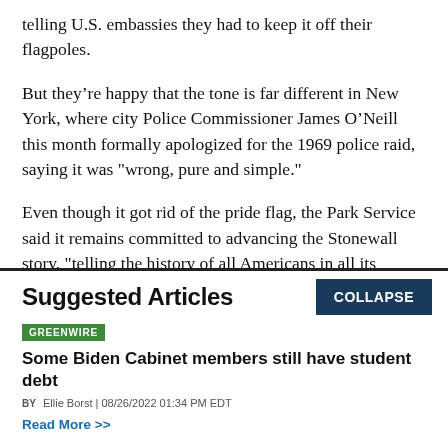telling U.S. embassies they had to keep it off their flagpoles.
But they’re happy that the tone is far different in New York, where city Police Commissioner James O’Neill this month formally apologized for the 1969 police raid, saying it was "wrong, pure and simple."
Even though it got rid of the pride flag, the Park Service said it remains committed to advancing the Stonewall story, "telling the history of all Americans in all its
Suggested Articles
COLLAPSE
GREENWIRE
Some Biden Cabinet members still have student debt
BY Ellie Borst | 08/26/2022 01:34 PM EDT
Read More >>
GREENWIRE
Packing a hurricane go bag? Don’t forget your birth control.